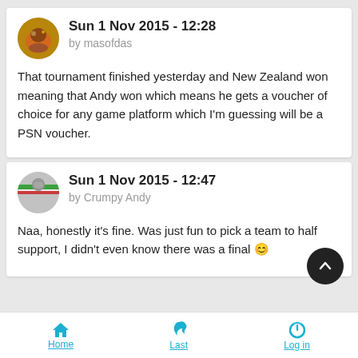Sun 1 Nov 2015 - 12:28
by masofdas
That tournament finished yesterday and New Zealand won meaning that Andy won which means he gets a voucher of choice for any game platform which I'm guessing will be a PSN voucher.
Sun 1 Nov 2015 - 12:47
by Crumpy Andy
Naa, honestly it's fine. Was just fun to pick a team to half support, I didn't even know there was a final 🙂
Home   Last   Log in